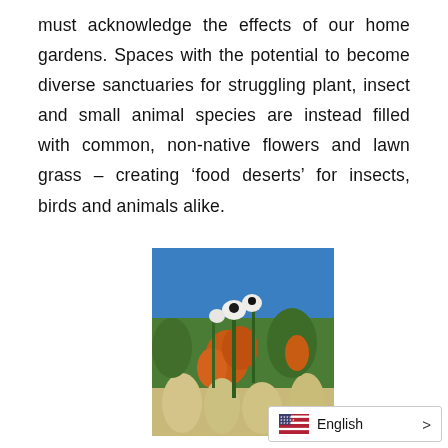must acknowledge the effects of our home gardens. Spaces with the potential to become diverse sanctuaries for struggling plant, insect and small animal species are instead filled with common, non-native flowers and lawn grass – creating 'food deserts' for insects, birds and animals alike.
[Figure (photo): Photograph of native garden plants with orange and white flowers against a blue sky background.]